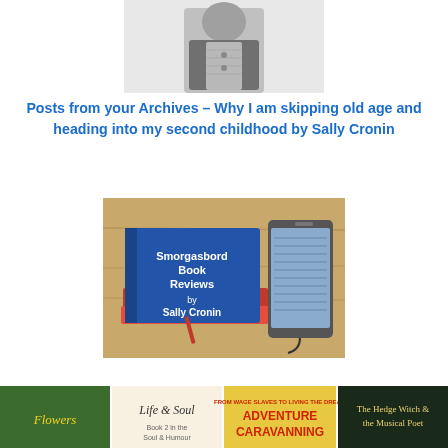[Figure (photo): Black and white portrait photograph of a person wearing a cardigan and patterned top, cropped at chest level]
Posts from your Archives – Why I am skipping old age and heading into my second childhood by Sally Cronin
[Figure (photo): Photo of a blue book titled 'Smorgasbord Book Reviews by Sally Cronin' stacked on red books beside a tablet e-reader on a wooden surface]
[Figure (photo): Bottom strip of four book cover thumbnails: Flowers, Life & Soul, Adventure Caravanning, The Hedge Witch & the Musical Poet]